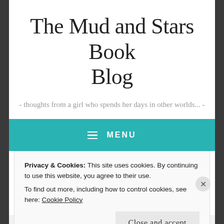The Mud and Stars Book Blog
- thoughts from a girl who spends her days in other worlds... -
≡ MENU
BOOK REVIEW
Privacy & Cookies: This site uses cookies. By continuing to use this website, you agree to their use.
To find out more, including how to control cookies, see here: Cookie Policy
Close and accept